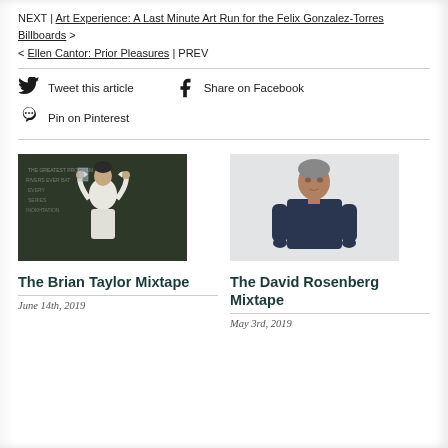NEXT | Art Experience: A Last Minute Art Run for the Felix Gonzalez-Torres Billboards >
< Ellen Cantor: Prior Pleasures | PREV
Tweet this article
Share on Facebook
Pin on Pinterest
[Figure (photo): Person in white jacket holding something overhead in front of a blackboard]
[Figure (photo): Man in dark navy sweater standing in front of a white wall]
The Brian Taylor Mixtape
The David Rosenberg Mixtape
June 14th, 2019
May 3rd, 2019